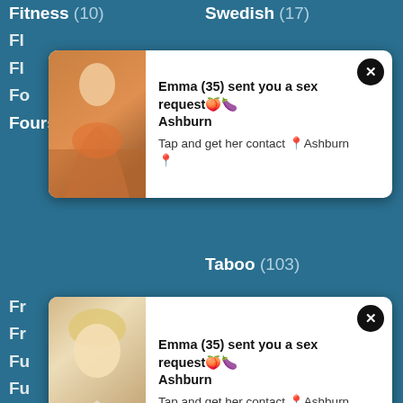Fitness (10)
Swedish (17)
[Figure (photo): Notification popup with photo of blonde woman in orange outfit]
Foursome (24)
Taboo (103)
[Figure (photo): Notification popup with photo of blonde woman]
Gagging (12)
Tease (57)
Game (30)
Teen (1470)
Gangbang (181)
Tgirl (27)
Gaping (110)
Thai (41)
Gay (51)
Thong (7)
German (505)
Threesome (510)
Ghetto (5)
Throat (388)
Giant (20)
Tied (48)